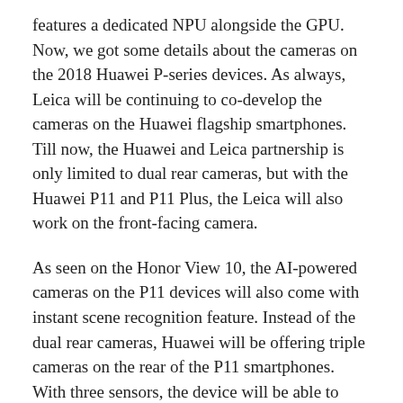features a dedicated NPU alongside the GPU. Now, we got some details about the cameras on the 2018 Huawei P-series devices. As always, Leica will be continuing to co-develop the cameras on the Huawei flagship smartphones. Till now, the Huawei and Leica partnership is only limited to dual rear cameras, but with the Huawei P11 and P11 Plus, the Leica will also work on the front-facing camera.
As seen on the Honor View 10, the AI-powered cameras on the P11 devices will also come with instant scene recognition feature. Instead of the dual rear cameras, Huawei will be offering triple cameras on the rear of the P11 smartphones. With three sensors, the device will be able to capture in 40MP resolution and includes 5x hybrid zoom. FYI, the current-gen smartphones only offer up to 2X hybrid zoom. We might also see some improvement in low light photography.